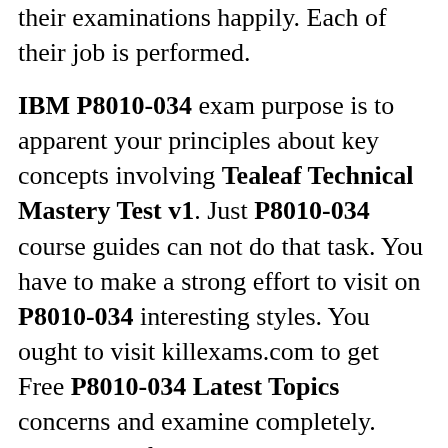their examinations happily. Each of their job is performed.
IBM P8010-034 exam purpose is to apparent your principles about key concepts involving Tealeaf Technical Mastery Test v1. Just P8010-034 course guides can not do that task. You have to make a strong effort to visit on P8010-034 interesting styles. You ought to visit killexams.com to get Free P8010-034 Latest Topics concerns and examine completely. Should you feel that you could hold all those P8010-034 concerns, you ought to get full Exam Questions of P8010-034 braindumps. That will be initial incredible progress, development, improvement toward incorporating all VCE questions